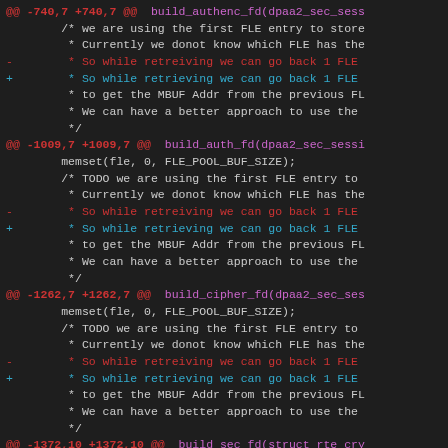[Figure (screenshot): A unified diff / patch view showing code changes in a dark-themed code viewer. Multiple hunk headers and context lines with removed (-) and added (+) lines are shown in monospace font with syntax coloring.]